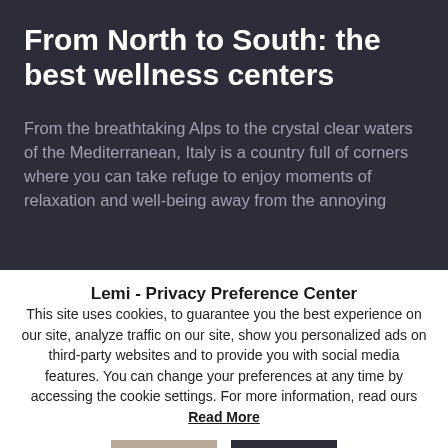From North to South: the best wellness centers
From the breathtaking Alps to the crystal clear waters of the Mediterranean, Italy is a country full of corners where you can take refuge to enjoy moments of relaxation and well-being away from the annoying
Lemi - Privacy Preference Center
This site uses cookies, to guarantee you the best experience on our site, analyze traffic on our site, show you personalized ads on third-party websites and to provide you with social media features. You can change your preferences at any time by accessing the cookie settings. For more information, read ours Read More